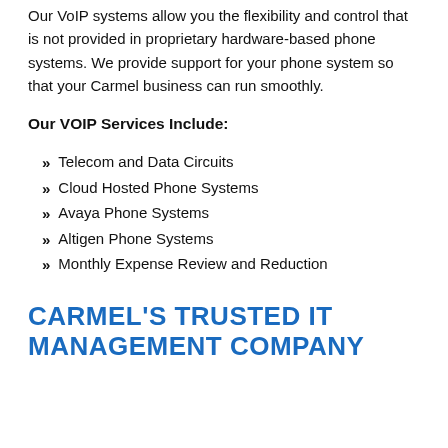Our VoIP systems allow you the flexibility and control that is not provided in proprietary hardware-based phone systems. We provide support for your phone system so that your Carmel business can run smoothly.
Our VOIP Services Include:
Telecom and Data Circuits
Cloud Hosted Phone Systems
Avaya Phone Systems
Altigen Phone Systems
Monthly Expense Review and Reduction
CARMEL'S TRUSTED IT MANAGEMENT COMPANY